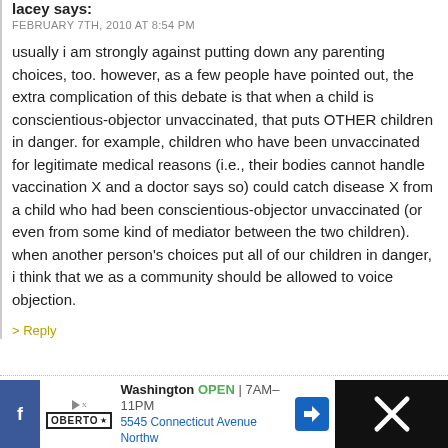lacey says:
FEBRUARY 7TH, 2010 AT 8:54 PM
usually i am strongly against putting down any parenting choices, too. however, as a few people have pointed out, the extra complication of this debate is that when a child is conscientious-objector unvaccinated, that puts OTHER children in danger. for example, children who have been unvaccinated for legitimate medical reasons (i.e., their bodies cannot handle vaccination X and a doctor says so) could catch disease X from a child who had been conscientious-objector unvaccinated (or even from some kind of mediator between the two children). when another person's choices put all of our children in danger, i think that we as a community should be allowed to voice objection.
> Reply
Kate says:
FEBRUARY 8TH, 2010 AT 6:31 AM
Lacey,
[Figure (screenshot): Advertisement bar at the bottom showing Oberto brand with Washington location, OPEN 7AM-11PM, 5545 Connecticut Avenue Northw, with navigation arrow icon and dark right panel with X close button]